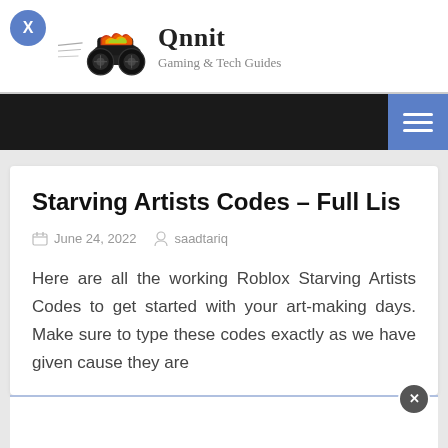Qnnit - Gaming & Tech Guides
Starving Artists Codes – Full Lis
June 24, 2022  saadtariq
Here are all the working Roblox Starving Artists Codes to get started with your art-making days. Make sure to type these codes exactly as we have given cause they are